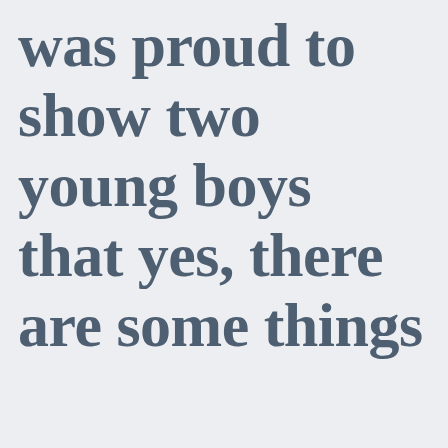was proud to show two young boys that yes, there are some things